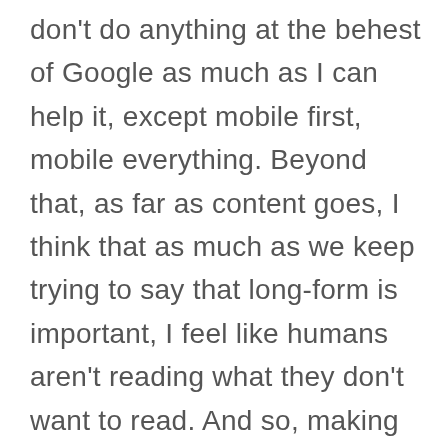don't do anything at the behest of Google as much as I can help it, except mobile first, mobile everything. Beyond that, as far as content goes, I think that as much as we keep trying to say that long-form is important, I feel like humans aren't reading what they don't want to read. And so, making much longer content of what they don't want to read is only pleasing a robot somewhere.